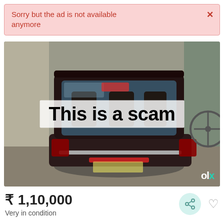Sorry but the ad is not available anymore
[Figure (photo): Rear view of a dark-colored hatchback car parked in a narrow garage/passageway, with 'This is a scam' overlaid in large black text on a semi-transparent white background. OLX watermark logo in bottom-right corner.]
₹ 1,10,000
Very in condition